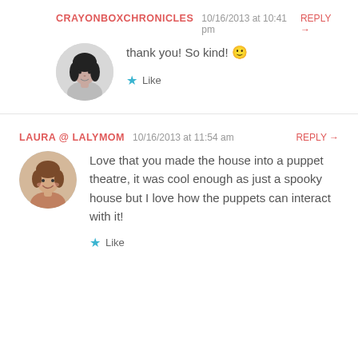CRAYONBOXCHRONICLES  10/16/2013 at 10:41 pm  REPLY →
[Figure (photo): Circular avatar photo of a woman with dark hair]
thank you! So kind! 🙂
★ Like
LAURA @ LALYMOM  10/16/2013 at 11:54 am  REPLY →
[Figure (photo): Circular avatar photo of a smiling woman with brown hair]
Love that you made the house into a puppet theatre, it was cool enough as just a spooky house but I love how the puppets can interact with it!
★ Like